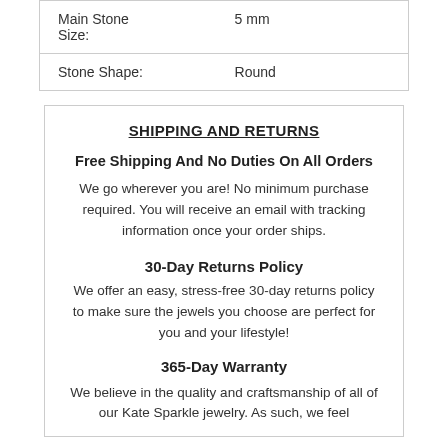| Main Stone Size: | 5 mm |
| Stone Shape: | Round |
SHIPPING AND RETURNS
Free Shipping And No Duties On All Orders
We go wherever you are! No minimum purchase required. You will receive an email with tracking information once your order ships.
30-Day Returns Policy
We offer an easy, stress-free 30-day returns policy to make sure the jewels you choose are perfect for you and your lifestyle!
365-Day Warranty
We believe in the quality and craftsmanship of all of our Kate Sparkle jewelry. As such, we feel